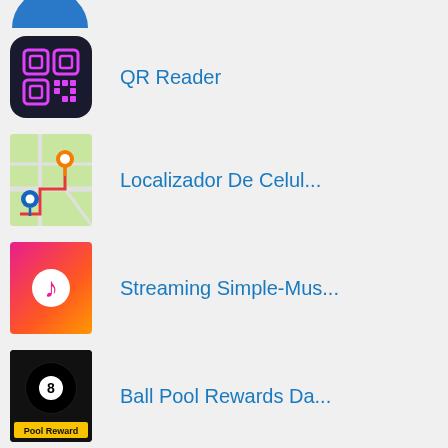[Figure (screenshot): App list showing 5 app entries with icons and names on a light gray background]
QR Reader
Localizador De Celul...
Streaming Simple-Mus...
Ball Pool Rewards Da...
ApkPure - Apk Extrac...